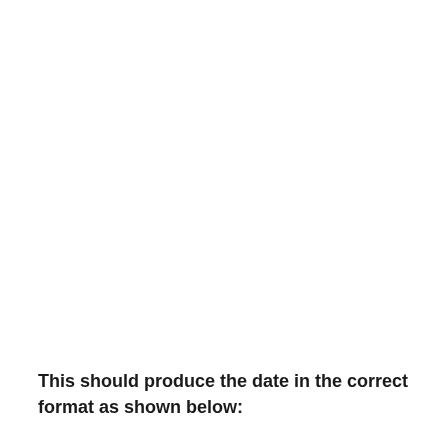This should produce the date in the correct format as shown below:
[Figure (screenshot): Screenshot of Excel formula bar showing: B2 cell with formula =DATE(RIGHT(A2,4), MID(A2,3,2), LEFT(A2,2))]